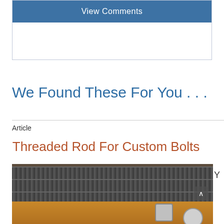View Comments
We Found These For You . . .
Article
Threaded Rod For Custom Bolts
[Figure (photo): Photo of multiple threaded rods (all-thread rods) lying on a wooden surface alongside hex nuts, photographed close-up showing the spiral threading detail.]